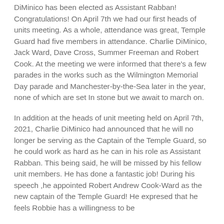DiMinico has been elected as Assistant Rabban! Congratulations! On April 7th we had our first heads of units meeting. As a whole, attendance was great, Temple Guard had five members in attendance. Charlie DiMinico, Jack Ward, Dave Cross, Summer Freeman and Robert Cook. At the meeting we were informed that there's a few parades in the works such as the Wilmington Memorial Day parade and Manchester-by-the-Sea later in the year, none of which are set In stone but we await to march on.
In addition at the heads of unit meeting held on April 7th, 2021, Charlie DiMinico had announced that he will no longer be serving as the Captain of the Temple Guard, so he could work as hard as he can in his role as Assistant Rabban. This being said, he will be missed by his fellow unit members. He has done a fantastic job! During his speech ,he appointed Robert Andrew Cook-Ward as the new captain of the Temple Guard! He expresed that he feels Robbie has a willingness to be